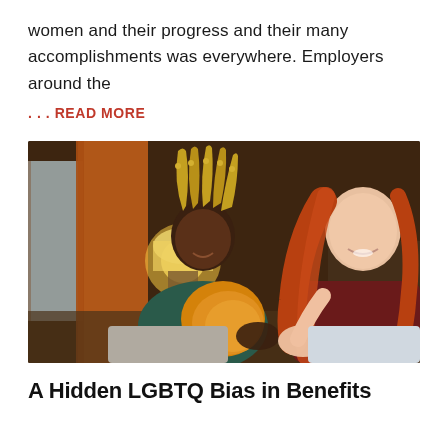women and their progress and their many accomplishments was everywhere. Employers around the
... READ MORE
[Figure (photo): Two women sitting together indoors in warm lighting. One woman with braided hair and an orange top is pregnant and looking down at her belly, smiling. Another woman with long red hair and a dark red top is sitting beside her, smiling and touching her pregnant belly.]
A Hidden LGBTQ Bias in Benefits